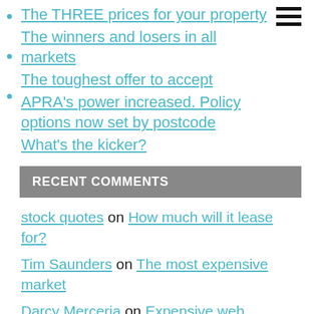The THREE prices for your property
The winners and losers in all markets
The toughest offer to accept
APRA's power increased. Policy options now set by postcode
What's the kicker?
RECENT COMMENTS
stock quotes on How much will it lease for?
Tim Saunders on The most expensive market
Darcy Merceria on Expensive web advertising drives off market transactions.
A_Buyer on The silent auction
Patrick Higgins on How to run a silent auction